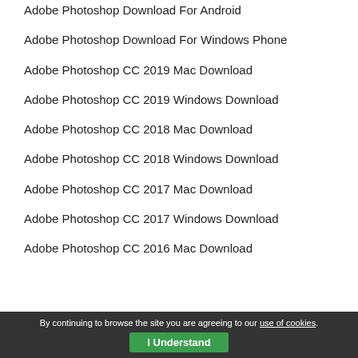Adobe Photoshop Download For Android
Adobe Photoshop Download For Windows Phone
Adobe Photoshop CC 2019 Mac Download
Adobe Photoshop CC 2019 Windows Download
Adobe Photoshop CC 2018 Mac Download
Adobe Photoshop CC 2018 Windows Download
Adobe Photoshop CC 2017 Mac Download
Adobe Photoshop CC 2017 Windows Download
Adobe Photoshop CC 2016 Mac Download
By continuing to browse the site you are agreeing to our use of cookies. I Understand